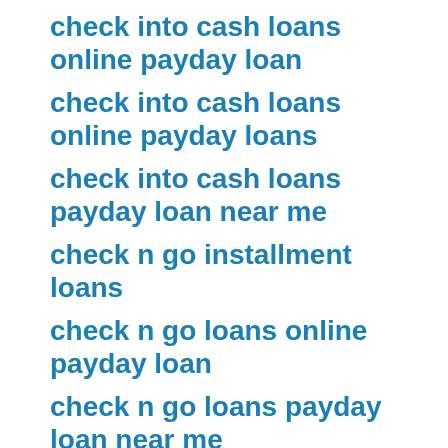check into cash loans online payday loan
check into cash loans online payday loans
check into cash loans payday loan near me
check n go installment loans
check n go loans online payday loan
check n go loans payday loan near me
check n go loans payday loan online